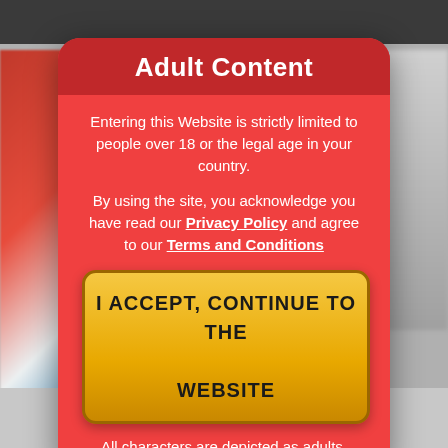Adult Content
Entering this Website is strictly limited to people over 18 or the legal age in your country.
By using the site, you acknowledge you have read our Privacy Policy and agree to our Terms and Conditions
I ACCEPT, CONTINUE TO THE WEBSITE
All characters are depicted as adults.